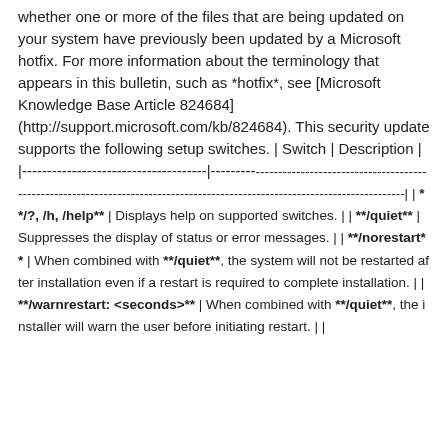When you install this security update, the installer checks whether one or more of the files that are being updated on your system have previously been updated by a Microsoft hotfix. For more information about the terminology that appears in this bulletin, such as *hotfix*, see [Microsoft Knowledge Base Article 824684] (http://support.microsoft.com/kb/824684). This security update supports the following setup switches. | Switch | Description | |--------------------------------------|----------------------------------------------------------------------------| | **/?, /h, /help** | Displays help on supported switches. | | **/quiet** | Suppresses the display of status or error messages. | | **/norestart** | When combined with **/quiet**, the system will not be restarted after installation even if a restart is required to complete installation. | | **/warnrestart:<seconds>** | When combined with **/quiet**, the installer will warn the user before initiating restart. | |